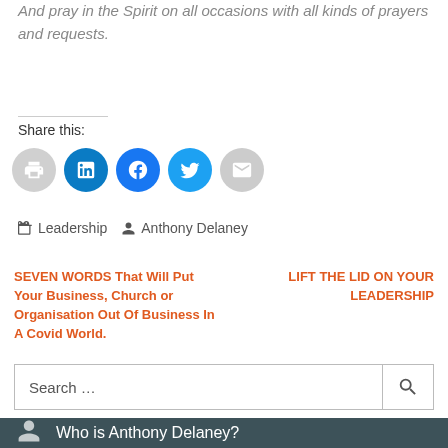And pray in the Spirit on all occasions with all kinds of prayers and requests.
Share this:
[Figure (infographic): Social share buttons: print, LinkedIn, Facebook, Twitter, Email]
Leadership   Anthony Delaney
SEVEN WORDS That Will Put Your Business, Church or Organisation Out Of Business In A Covid World.
LIFT THE LID ON YOUR LEADERSHIP
Search ...
Who is Anthony Delaney?